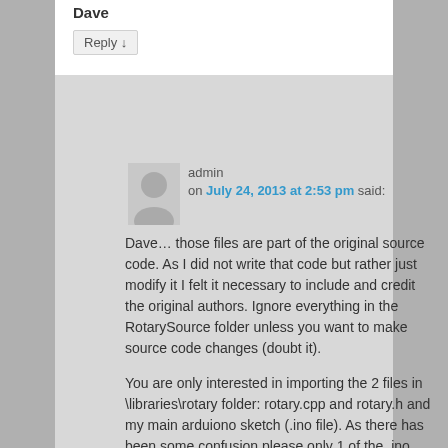Dave
Reply ↓
admin
on July 24, 2013 at 2:53 pm said:
Dave… those files are part of the original source code. As I did not write that code but rather just modify it I felt it necessary to include and credit the original authors. Ignore everything in the RotarySource folder unless you want to make source code changes (doubt it).
You are only interested in importing the 2 files in \libraries\rotary folder: rotary.cpp and rotary.h and my main arduiono sketch (.ino file). As there has been some confusion please only 1 of the .ino files. More is explained in the ReadMe.txt file.